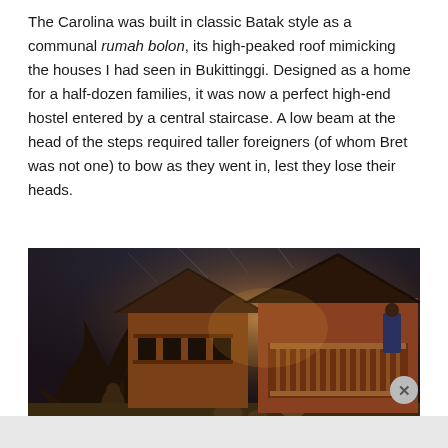The Carolina was built in classic Batak style as a communal rumah bolon, its high-peaked roof mimicking the houses I had seen in Bukittinggi. Designed as a home for a half-dozen families, it was now a perfect high-end hostel entered by a central staircase. A low beam at the head of the steps required taller foreigners (of whom Bret was not one) to bow as they went in, lest they lose their heads.
[Figure (photo): Photo of a traditional Batak-style wooden building (rumah bolon) with a high-peaked roof, intricate wooden balcony, and large tree roots in the foreground. Warm orange-brown tones, dramatic lighting.]
Advertisements